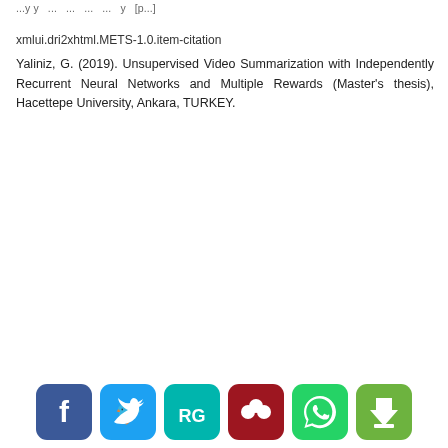...y y ... ... ... ... y [p...]
xmlui.dri2xhtml.METS-1.0.item-citation
Yaliniz, G. (2019). Unsupervised Video Summarization with Independently Recurrent Neural Networks and Multiple Rewards (Master's thesis), Hacettepe University, Ankara, TURKEY.
[Figure (other): Social sharing buttons: Facebook, Twitter, ResearchGate, Mendeley, WhatsApp, and a print/share button]